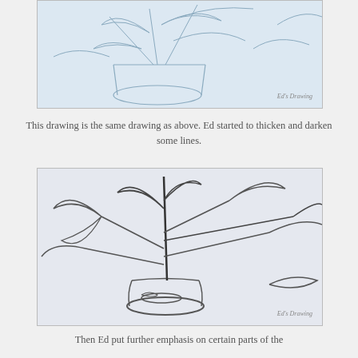[Figure (illustration): A light pencil sketch of flowers/plants in a vase, showing thin blue-grey lines. Watermark label 'Ed's Drawing' in bottom right.]
This drawing is the same drawing as above. Ed started to thicken and darken some lines.
[Figure (illustration): A darker pencil sketch of flowers/plants in a vase with thickened and darkened lines compared to the sketch above. Label 'Ed's Drawing' in bottom right.]
Then Ed put further emphasis on certain parts of the